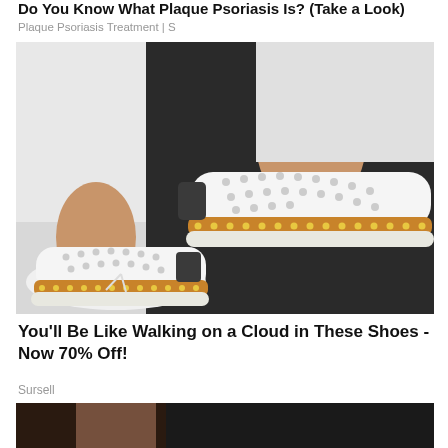Do You Know What Plaque Psoriasis Is? (Take a Look)
Plaque Psoriasis Treatment | S
[Figure (photo): Close-up photo of a person wearing white espadrille-style slip-on shoes with perforated upper and cork-patterned sole with gold bead trim, standing on a dark surface, wearing white pants.]
You'll Be Like Walking on a Cloud in These Shoes - Now 70% Off!
Sursell
[Figure (photo): Partial photo showing a person in black pants, cropped at top of page bottom.]